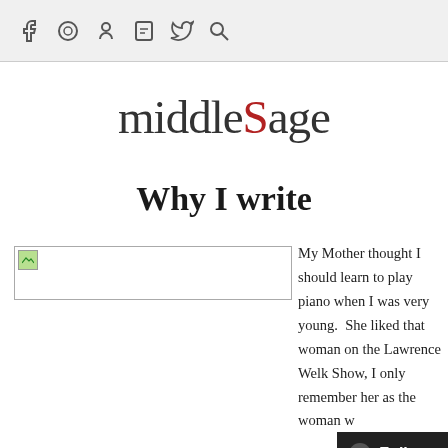[Navigation icons: facebook, lastfm, snapchat, tumblr, twitter, search]
[Figure (logo): middleSage blog logo with red uppercase S]
Why I write
[Figure (photo): Broken/placeholder image on left side]
My Mother thought I should learn to play piano when I was very young.  She liked that woman on the Lawrence Welk Show, I only remember her as the woman w